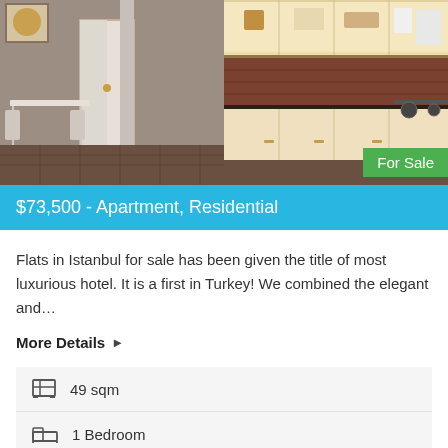[Figure (photo): Interior photo of a luxury apartment showing dining area on left and kitchen on right]
$73,500 - Apartment, Residential
Flats in Istanbul for sale has been given the title of most luxurious hotel. It is a first in Turkey! We combined the elegant and…
More Details ▶
| Feature | Value |
| --- | --- |
| Area | 49 sqm |
| Bedrooms | 1 Bedroom |
| Bathrooms | 1 Bathroom |